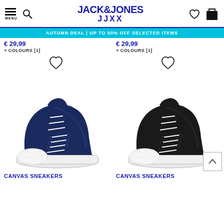JACK&JONES JJXX — navigation header with menu, search, wishlist, bag icons
AUTUMN DEAL | UP TO 50% OFF SELECTED ITEMS
€ 29,99
+ COLOURS [1]
€ 29,99
+ COLOURS [1]
[Figure (photo): Navy blue high-top canvas sneaker with white sole and laces]
[Figure (photo): Black high-top canvas sneaker with white sole and laces]
CANVAS SNEAKERS
CANVAS SNEAKERS